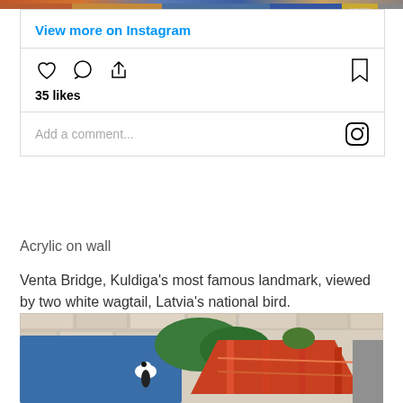[Figure (photo): Top strip of a colorful mural painting showing figures]
View more on Instagram
35 likes
Add a comment...
Acrylic on wall
Venta Bridge, Kuldiga's most famous landmark, viewed by two white wagtail, Latvia's national bird.
[Figure (photo): Colorful mural painting of Venta Bridge with white wagtail birds on brick wall background, featuring blue, green, red and orange colors]